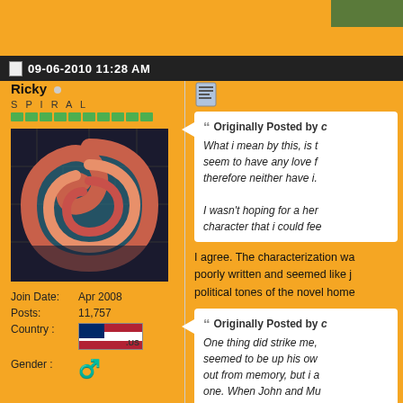09-06-2010 11:28 AM
Ricky
S P I R A L
[Figure (photo): Spiral graffiti mural on brick wall, teal and pink/red spiral painted on dark background]
Join Date: Apr 2008
Posts: 11,757
Country: US
Gender: Male
[Figure (other): Multi-quote icon]
Originally Posted by c
What i mean by this, is t... seem to have any love f... therefore neither have i.
I wasn't hoping for a her... character that i could fee...
I agree. The characterization wa... poorly written and seemed like j... political tones of the novel home...
Originally Posted by c
One thing did strike me,... seemed to be up his ow... out from memory, but i a... one. When John and Mu... existence of God. Huxle...